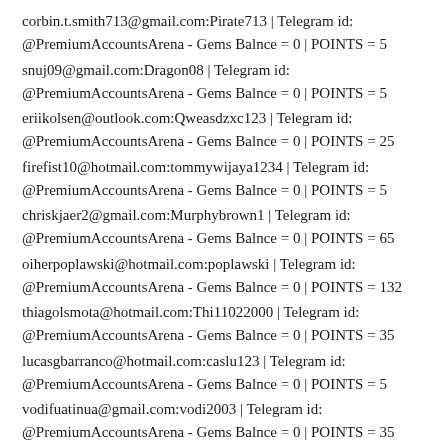corbin.t.smith713@gmail.com:Pirate713 | Telegram id: @PremiumAccountsArena - Gems Balnce = 0 | POINTS = 5
snuj09@gmail.com:Dragon08 | Telegram id: @PremiumAccountsArena - Gems Balnce = 0 | POINTS = 5
eriikolsen@outlook.com:Qweasdzxc123 | Telegram id: @PremiumAccountsArena - Gems Balnce = 0 | POINTS = 25
firefist10@hotmail.com:tommywijaya1234 | Telegram id: @PremiumAccountsArena - Gems Balnce = 0 | POINTS = 5
chriskjaer2@gmail.com:Murphybrown1 | Telegram id: @PremiumAccountsArena - Gems Balnce = 0 | POINTS = 65
oiherpoplawski@hotmail.com:poplawski | Telegram id: @PremiumAccountsArena - Gems Balnce = 0 | POINTS = 132
thiagolsmota@hotmail.com:Thi11022000 | Telegram id: @PremiumAccountsArena - Gems Balnce = 0 | POINTS = 35
lucasgbarranco@hotmail.com:caslu123 | Telegram id: @PremiumAccountsArena - Gems Balnce = 0 | POINTS = 5
vodifuatinua@gmail.com:vodi2003 | Telegram id: @PremiumAccountsArena - Gems Balnce = 0 | POINTS = 35
adamskiller8@email.cz:Sskillerko1 | Telegram id: